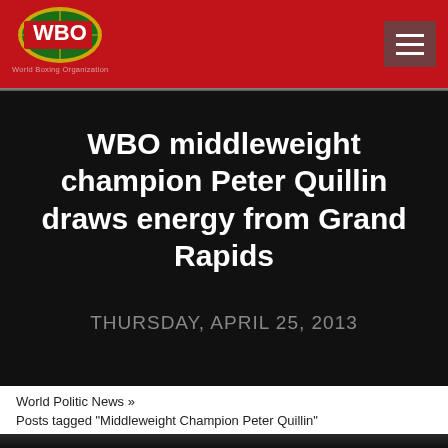WBO World Boxing Organization
WBO middleweight champion Peter Quillin draws energy from Grand Rapids
THURSDAY, APRIL 25, 2013
World Politic News »
Posts tagged "Middleweight Champion Peter Quillin"
[Figure (photo): Bottom strip showing partial boxing event photo]